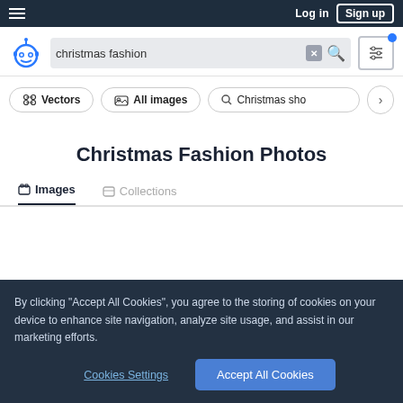Log in  Sign up
[Figure (screenshot): Freepik website screenshot showing search interface with logo, search bar containing 'christmas fashion', filter buttons for Vectors and All images, page title 'Christmas Fashion Photos', image/collections tabs, and a cookie consent banner]
Christmas Fashion Photos
By clicking "Accept All Cookies", you agree to the storing of cookies on your device to enhance site navigation, analyze site usage, and assist in our marketing efforts.
Cookies Settings  Accept All Cookies